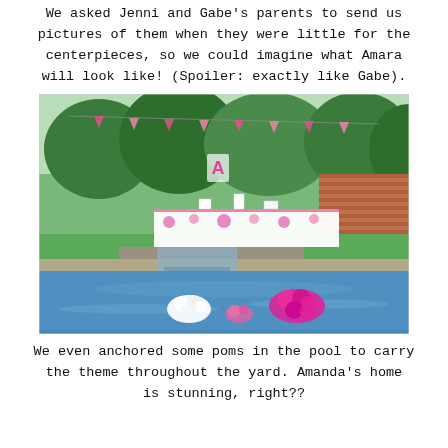We asked Jenni and Gabe's parents to send us pictures of them when they were little for the centerpieces, so we could imagine what Amara will look like! (Spoiler: exactly like Gabe).
[Figure (photo): Outdoor backyard party setup next to a swimming pool. A decorated table with white and pink decorations sits behind the pool near lush green trees. Colorful bunting flags hang between trees. Pink and white pom-pom flowers float in the blue pool water. A brick wall and garden with white flowers are visible in the background.]
We even anchored some poms in the pool to carry the theme throughout the yard. Amanda's home is stunning, right??